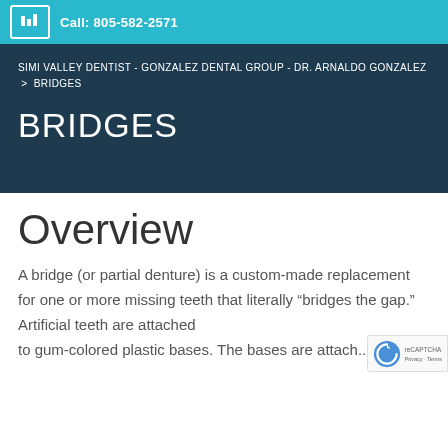Call: 805-582-2571
SIMI VALLEY DENTIST - GONZALEZ DENTAL GROUP - DR. ARNALDO GONZALEZ > BRIDGES
BRIDGES
Overview
A bridge (or partial denture) is a custom-made replacement for one or more missing teeth that literally “bridges the gap.” Artificial teeth are attached to gum-colored plastic bases. The bases are attach...